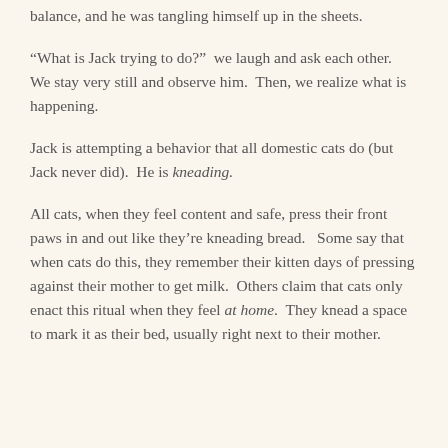balance, and he was tangling himself up in the sheets.
“What is Jack trying to do?”  we laugh and ask each other.  We stay very still and observe him.  Then, we realize what is happening.
Jack is attempting a behavior that all domestic cats do (but Jack never did).  He is kneading.
All cats, when they feel content and safe, press their front paws in and out like they’re kneading bread.   Some say that when cats do this, they remember their kitten days of pressing against their mother to get milk.  Others claim that cats only enact this ritual when they feel at home.  They knead a space to mark it as their bed, usually right next to their mother.